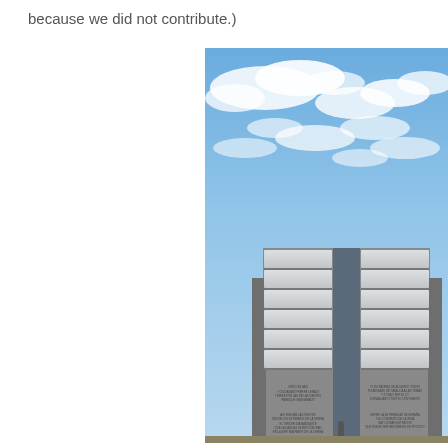because we did not contribute.)
[Figure (photo): Upward-angled photograph of a large concrete monument or tower structure with two tall columns bearing inscribed stone plaques, set against a partly cloudy blue sky. Text inscriptions in Spanish are visible on the lower panels of the monument.]